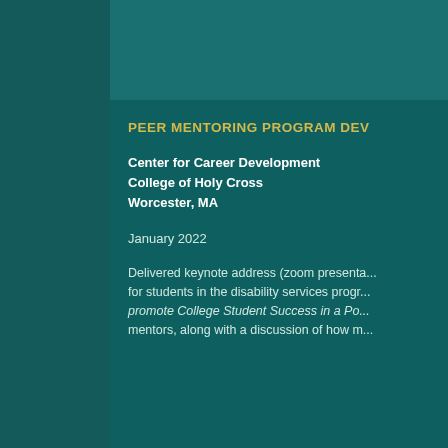PEER MENTORING PROGRAM DEV
Center for Career Development
College of Holy Cross
Worcester, MA
January 2022
Delivered keynote address (zoom presenta... for students in the disability services progr... promote College Student Success in a Po... mentors, along with a discussion of how m...